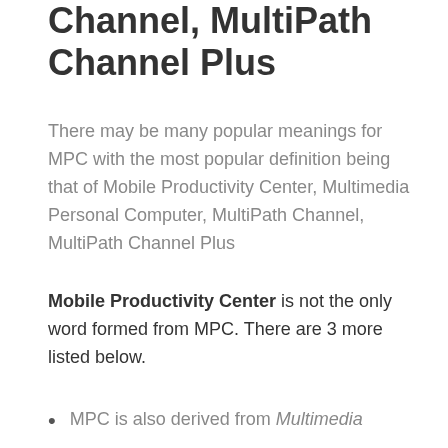Channel, MultiPath Channel Plus
There may be many popular meanings for MPC with the most popular definition being that of Mobile Productivity Center, Multimedia Personal Computer, MultiPath Channel, MultiPath Channel Plus
Mobile Productivity Center is not the only word formed from MPC. There are 3 more listed below.
MPC is also derived from Multimedia